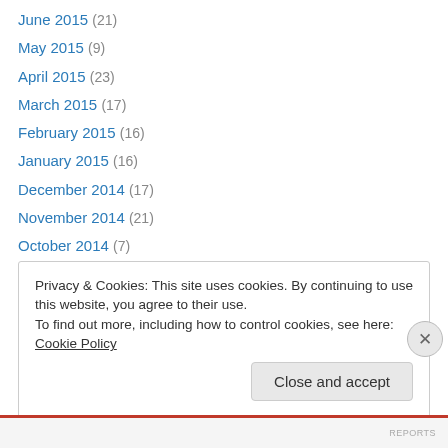June 2015 (21)
May 2015 (9)
April 2015 (23)
March 2015 (17)
February 2015 (16)
January 2015 (16)
December 2014 (17)
November 2014 (21)
October 2014 (7)
September 2014 (22)
August 2014 (15)
July 2014 (21)
June 2014 (22)
Privacy & Cookies: This site uses cookies. By continuing to use this website, you agree to their use. To find out more, including how to control cookies, see here: Cookie Policy
REPORTS